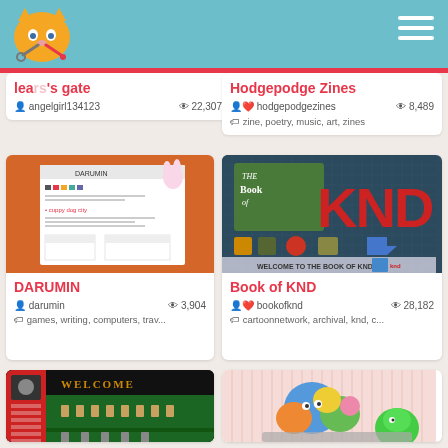Neocities logo and navigation
lea rs gate | angelgirl134123 | 22,307 views
Hodgepodge Zines | hodgepodgezines | 8,489 views | zine, poetry, music, art, zines
[Figure (screenshot): DARUMIN site thumbnail - orange background with webpage mockup]
DARUMIN
darumin | 3,904 views | games, writing, computers, trav...
[Figure (screenshot): Book of KND site thumbnail - dark blue grid background with KND logo]
Book of KND
bookofknd | 28,182 views | cartoonnetwork, archival, knd, c...
[Figure (screenshot): Dark welcome screen with red sidebar and green area with pixel art figures]
[Figure (screenshot): Pink striped background with colorful cartoon monster characters]